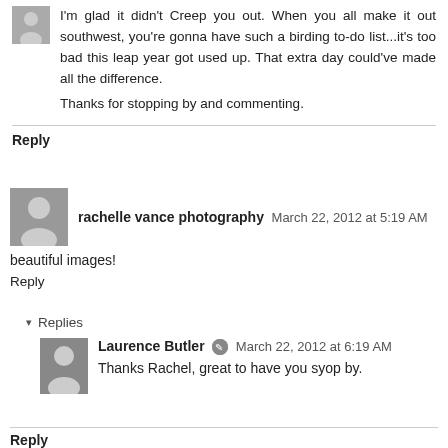[Figure (photo): Small avatar photo of a person]
I'm glad it didn't Creep you out. When you all make it out southwest, you're gonna have such a birding to-do list...it's too bad this leap year got used up. That extra day could've made all the difference.
Thanks for stopping by and commenting.
Reply
[Figure (photo): Avatar photo of rachelle vance photography]
rachelle vance photography  March 22, 2012 at 5:19 AM
beautiful images!
Reply
Replies
[Figure (photo): Avatar photo of Laurence Butler]
Laurence Butler  March 22, 2012 at 6:19 AM
Thanks Rachel, great to have you syop by.
Reply